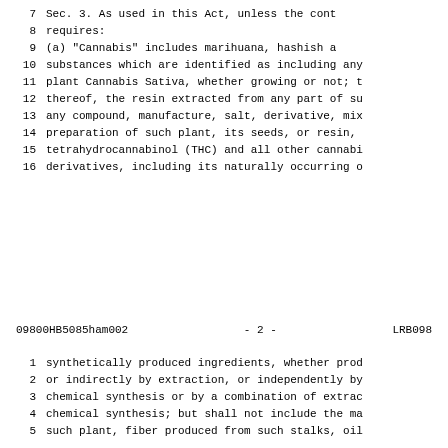7     Sec. 3. As used in this Act, unless the cont
8  requires:
9     (a) "Cannabis" includes marihuana, hashish a
10  substances which are identified as including any
11  plant Cannabis Sativa, whether growing or not; t
12  thereof, the resin extracted from any part of su
13  any compound, manufacture, salt, derivative, mix
14  preparation of such plant, its seeds, or resin,
15  tetrahydrocannabinol (THC) and all other cannabi
16  derivatives, including its naturally occurring o
09800HB5085ham002          - 2 -          LRB098
1  synthetically produced ingredients, whether prod
2  or indirectly by extraction, or independently by
3  chemical synthesis or by a combination of extrac
4  chemical synthesis; but shall not include the ma
5  such plant, fiber produced from such stalks, oil